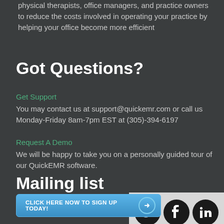physical therapists, office managers, and practice owners to reduce the costs involved in operating your practice by helping your office become more efficient
Got Questions?
Get Support
You may contact us at support@quickemr.com or call us Monday-Friday 8am-7pm EST at (305)-394-6197
Request A Demo
We will be happy to take you on a personally guided tour of our QuickEMR software.
Mailing list
Subscribe to our mailing list for offers, news upda
[Figure (infographic): Social media icons for Twitter, Facebook, and LinkedIn on a light grey background]
[Figure (infographic): Blue call-to-action button reading CLICK HERE NOW TO SIGN UP TODAY! with right arrow]